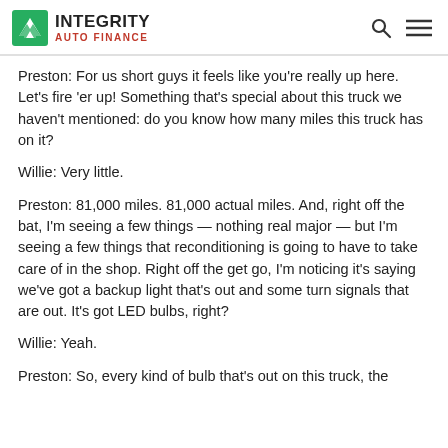INTEGRITY AUTO FINANCE
Preston: For us short guys it feels like you’re really up here. Let’s fire ‘er up! Something that’s special about this truck we haven't mentioned: do you know how many miles this truck has on it?
Willie: Very little.
Preston: 81,000 miles. 81,000 actual miles. And, right off the bat, I’m seeing a few things — nothing real major — but I’m seeing a few things that reconditioning is going to have to take care of in the shop. Right off the get go, I’m noticing it's saying we’ve got a backup light that’s out and some turn signals that are out. It’s got LED bulbs, right?
Willie: Yeah.
Preston: So, every kind of bulb that’s out on this truck, the